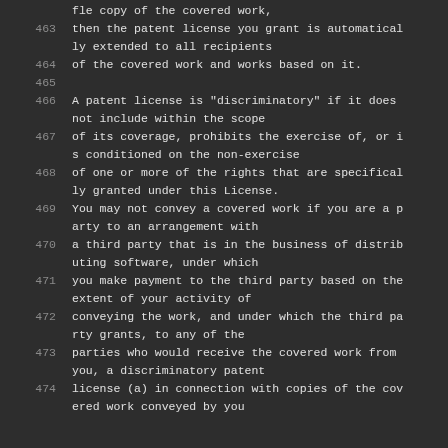462 (continuation) fle copy of the covered work,
463 then the patent license you grant is automatically extended to all recipients
464 of the covered work and works based on it.
465 (empty)
466 A patent license is "discriminatory" if it does not include within the scope
467 of its coverage, prohibits the exercise of, or is conditioned on the non-exercise
468 of one or more of the rights that are specifically granted under this License.
469 You may not convey a covered work if you are a party to an arrangement with
470 a third party that is in the business of distributing software, under which
471 you make payment to the third party based on the extent of your activity of
472 conveying the work, and under which the third party grants, to any of the
473 parties who would receive the covered work from you, a discriminatory patent
474 license (a) in connection with copies of the covered work conveyed by you